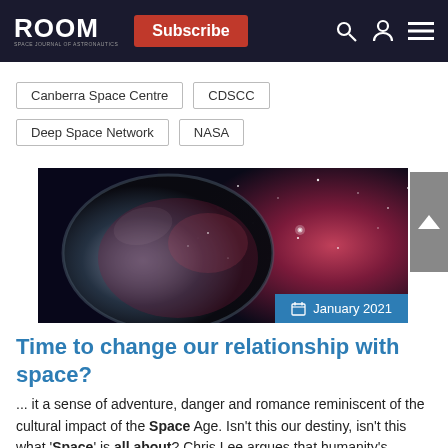ROOM | Subscribe
Canberra Space Centre
CDSCC
Deep Space Network
NASA
[Figure (photo): Astronaut helmet visor reflecting a galaxy/nebula starfield, with blue and red cosmic colours visible]
January 2021
Time to change our relationship with space?
... it a sense of adventure, danger and romance reminiscent of the cultural impact of the Space Age. Isn't this our destiny, isn't this what 'Space' is all about? Chris Lee argues that humanity's destiny today remains Earth and not... of 'astronaut as hero' was more muted in my